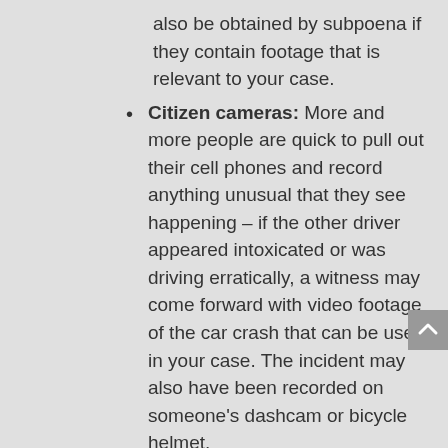also be obtained by subpoena if they contain footage that is relevant to your case.
Citizen cameras: More and more people are quick to pull out their cell phones and record anything unusual that they see happening – if the other driver appeared intoxicated or was driving erratically, a witness may come forward with video footage of the car crash that can be used in your case. The incident may also have been recorded on someone's dashcam or bicycle helmet.
Whenever possible, whether we are talking to an insurance adjuster, defense attorney, or jury, it is best to show what happened instead of telling what happened.